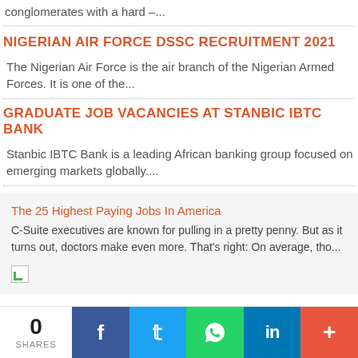conglomerates with a hard –...
NIGERIAN AIR FORCE DSSC RECRUITMENT 2021
The Nigerian Air Force is the air branch of the Nigerian Armed Forces. It is one of the...
GRADUATE JOB VACANCIES AT STANBIC IBTC BANK
Stanbic IBTC Bank is a leading African banking group focused on emerging markets globally....
The 25 Highest Paying Jobs In America
C-Suite executives are known for pulling in a pretty penny. But as it turns out, doctors make even more. That's right: On average, tho...
[Figure (other): Broken image icon (small thumbnail)]
Featured Jobs
0 SHARES | Facebook | Twitter | WhatsApp | LinkedIn | More